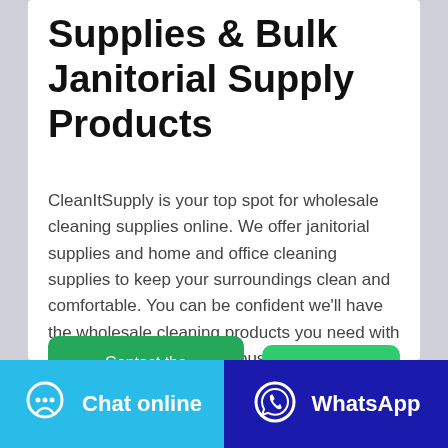Supplies & Bulk Janitorial Supply Products
CleanItSupply is your top spot for wholesale cleaning supplies online. We offer janitorial supplies and home and office cleaning supplies to keep your surroundings clean and comfortable. You can be confident we'll have the wholesale cleaning products you need with our selection of tens of thousands of cleaning products available 24/7 on ...
Contact the manufacturer
WhatsApp
Chat online
WhatsApp